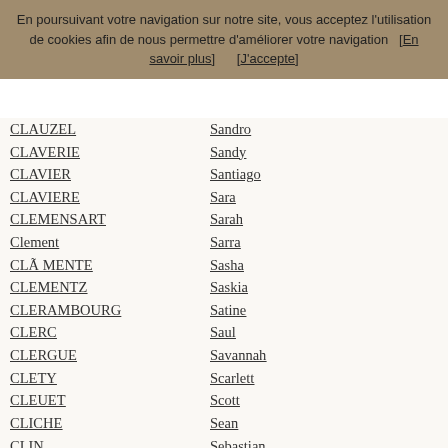En poursuivant votre navigation sur notre site, vous acceptez l'utilisation de cookies afin de nous permettre d'améliorer votre navigation   [En savoir plus]       [J'accepte]
CLAUZEL
Sandro
CLAVERIE
Sandy
CLAVIER
Santiago
CLAVIERE
Sara
CLEMENSART
Sarah
Clement
Sarra
CLÃ MENTE
Sasha
CLEMENTZ
Saskia
CLERAMBOURG
Satine
CLERC
Saul
CLERGUE
Savannah
CLETY
Scarlett
CLEUET
Scott
CLICHE
Sean
CLIN
Sebastian
CLINQUART
Sébastien
CLIQUE
Sekou
CLIQUOT
Selena
Cloche
Selène
CLOEST
Selim
CLOET
Selma
Clomes
Selvan